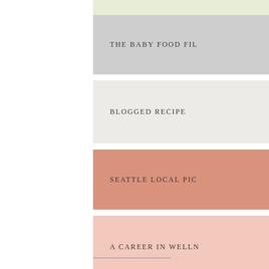THE BABY FOOD FIL...
BLOGGED RECIPE...
SEATTLE LOCAL PIC...
A CAREER IN WELLN...